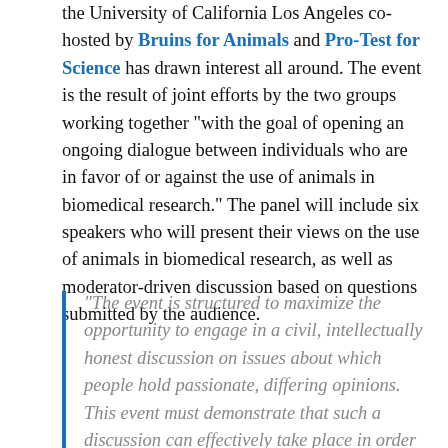the University of California Los Angeles co-hosted by Bruins for Animals and Pro-Test for Science has drawn interest all around. The event is the result of joint efforts by the two groups working together "with the goal of opening an ongoing dialogue between individuals who are in favor of or against the use of animals in biomedical research." The panel will include six speakers who will present their views on the use of animals in biomedical research, as well as moderator-driven discussion based on questions submitted by the audience.
“The event is structured to maximize the opportunity to engage in a civil, intellectually honest discussion on issues about which people hold passionate, differing opinions. This event must demonstrate that such a discussion can effectively take place in order for future